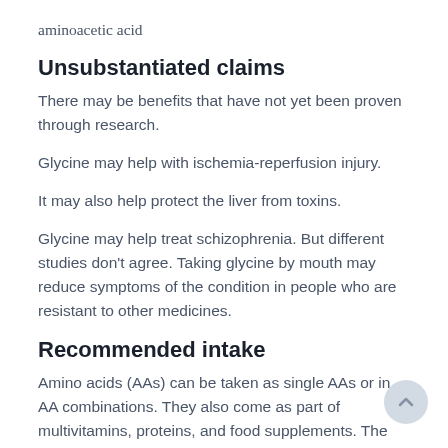aminoacetic acid
Unsubstantiated claims
There may be benefits that have not yet been proven through research.
Glycine may help with ischemia-reperfusion injury.
It may also help protect the liver from toxins.
Glycine may help treat schizophrenia. But different studies don’t agree. Taking glycine by mouth may reduce symptoms of the condition in people who are resistant to other medicines.
Recommended intake
Amino acids (AAs) can be taken as single AAs or in AA combinations. They also come as part of multivitamins, proteins, and food supplements. The